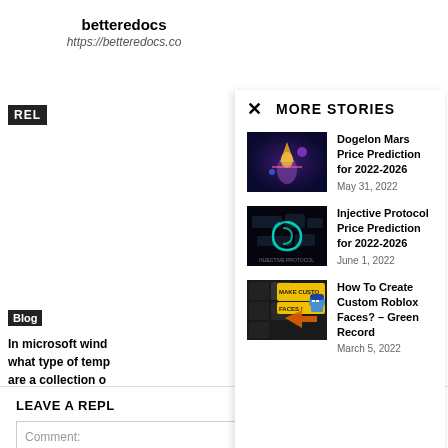betteredocs
https://betteredocs.co
MORE STORIES
Dogelon Mars Price Prediction for 2022-2026
May 31, 2022
Injective Protocol Price Prediction for 2022-2026
June 1, 2022
How To Create Custom Roblox Faces? – Green Record
March 5, 2022
Blog
In microsoft wind what type of temp are a collection o security configura settings?
LEAVE A REPL
Comment: